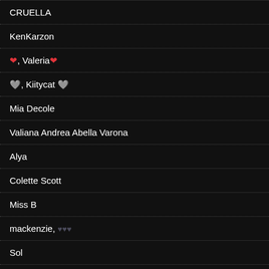CRUELLA
KenKarzon
❤, Valeria❤
🩶, Kiitycat 🩶
Mia Decole
Valiana Andrea Abella Varona
Alya
Colette Scott
Miss B
mackenzie, ♥♥♥
Sol
NICO
Kata, ♥